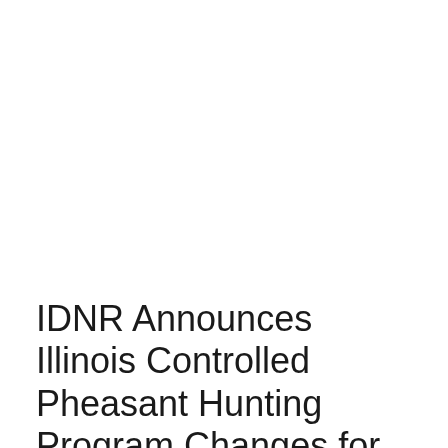IDNR Announces Illinois Controlled Pheasant Hunting Program Changes for 2020-21 Season